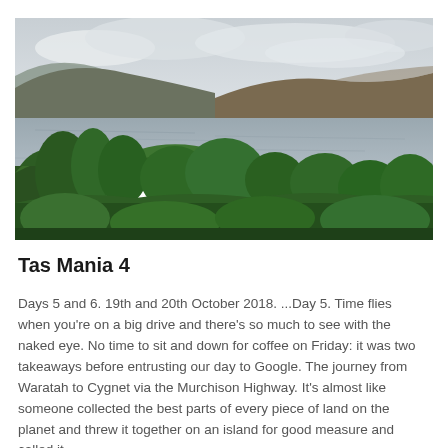[Figure (photo): Landscape photograph of a lake surrounded by green shrubs and hills/mountains in the background under a cloudy sky, taken in Tasmania.]
Tas Mania 4
Days 5 and 6. 19th and 20th October 2018. ...Day 5. Time flies when you're on a big drive and there's so much to see with the naked eye. No time to sit and down for coffee on Friday: it was two takeaways before entrusting our day to Google. The journey from Waratah to Cygnet via the Murchison Highway. It's almost like someone collected the best parts of every piece of land on the planet and threw it together on an island for good measure and called it